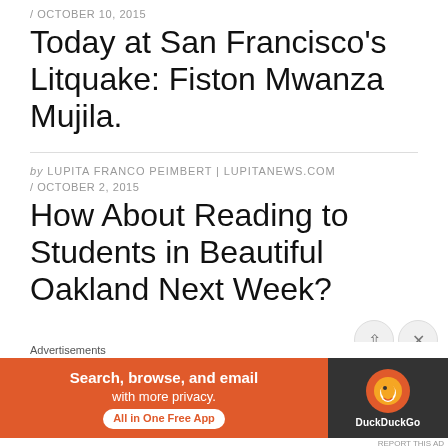/ OCTOBER 10, 2015
Today at San Francisco's Litquake: Fiston Mwanza Mujila.
by LUPITA FRANCO PEIMBERT | LUPITANEWS.COM / OCTOBER 2, 2015
How About Reading to Students in Beautiful Oakland Next Week?
[Figure (infographic): DuckDuckGo advertisement banner: orange background with text 'Search, browse, and email with more privacy. All in One Free App' and DuckDuckGo logo on dark background]
Advertisements